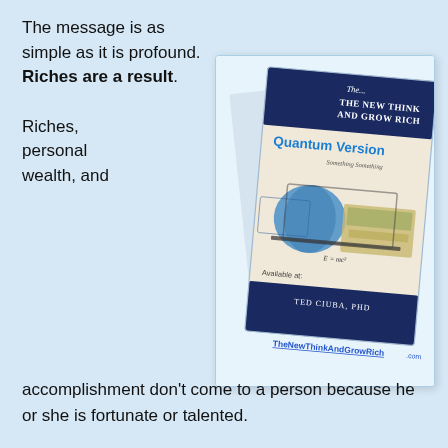The message is as simple as it is profound. Riches are a result.

Riches, personal wealth, and
[Figure (illustration): Book cover image for 'The New Think And Grow Rich' Quantum Version by Ted Ciuba, PhD, shown at an angle. Contains the book title, author name, and a link TheNewThinkAndGrowRich.com. Also shows text 'Available at:' and a Quantum Version label in blue.]
accomplishment don't come to a person because he or she is fortunate or talented.